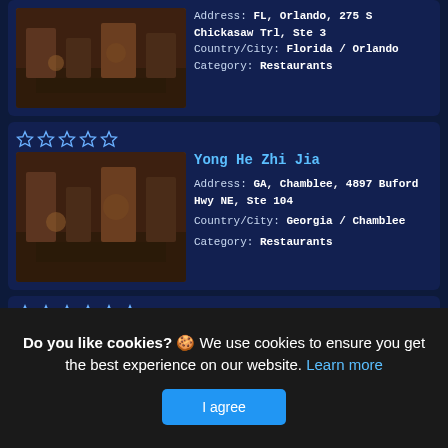Address: FL, Orlando, 275 S Chickasaw Trl, Ste 3
Country/City: Florida / Orlando
Category: Restaurants
Yong He Zhi Jia
Address: GA, Chamblee, 4897 Buford Hwy NE, Ste 104
Country/City: Georgia / Chamblee
Category: Restaurants
White Castle
Address: OH, Columbus, 801 E 5th Ave
Country/City: Georgia / Columbus
Category: Restaurants
(partial listing with stars)
Do you like cookies? 🍪 We use cookies to ensure you get the best experience on our website. Learn more